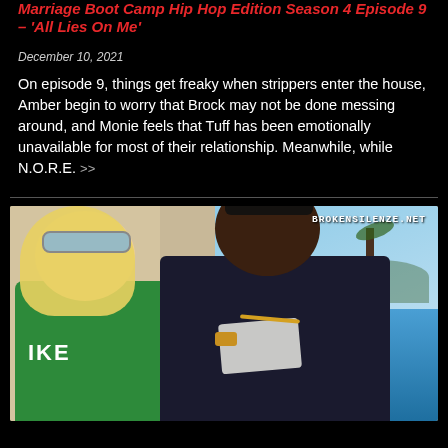Marriage Boot Camp Hip Hop Edition Season 4 Episode 9 – 'All Lies On Me'
December 10, 2021
On episode 9, things get freaky when strippers enter the house, Amber begin to worry that Brock may not be done messing around, and Monie feels that Tuff has been emotionally unavailable for most of their relationship. Meanwhile, while N.O.R.E. >>
[Figure (photo): Two people posing together outdoors on a balcony with ocean and palm trees visible in background. A blonde woman in a green Nike top with sunglasses on the left, and a Black man in a dark t-shirt with arms crossed on the right. Watermark reads BROKENSILENZE.NET in top right corner.]